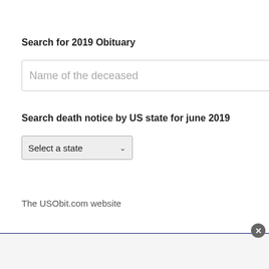Search for 2019 Obituary
[Figure (screenshot): Text input box with placeholder text 'Name of the deceased']
Search death notice by US state for june 2019
[Figure (screenshot): Dropdown select box with option 'Select a state']
The USObit.com website
[Figure (screenshot): Bottom panel with dark blue border line and close button (x), gray background area below]